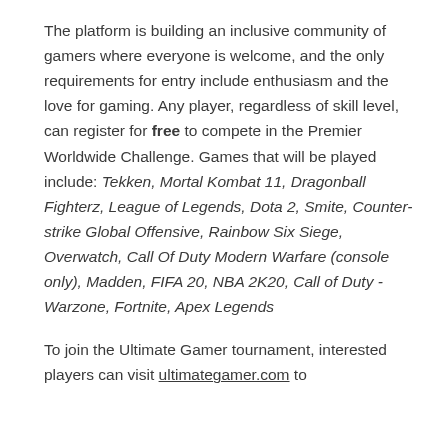The platform is building an inclusive community of gamers where everyone is welcome, and the only requirements for entry include enthusiasm and the love for gaming. Any player, regardless of skill level, can register for free to compete in the Premier Worldwide Challenge. Games that will be played include: Tekken, Mortal Kombat 11, Dragonball Fighterz, League of Legends, Dota 2, Smite, Counter-strike Global Offensive, Rainbow Six Siege, Overwatch, Call Of Duty Modern Warfare (console only), Madden, FIFA 20, NBA 2K20, Call of Duty - Warzone, Fortnite, Apex Legends
To join the Ultimate Gamer tournament, interested players can visit ultimategamer.com to